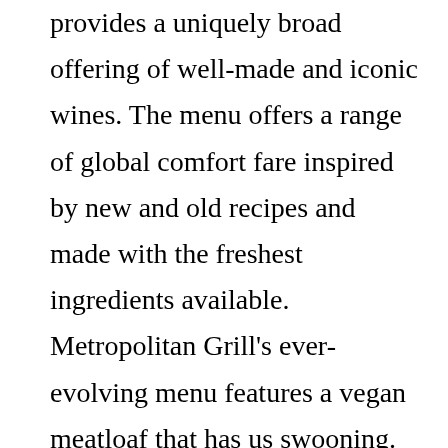provides a uniquely broad offering of well-made and iconic wines. The menu offers a range of global comfort fare inspired by new and old recipes and made with the freshest ingredients available. Metropolitan Grill's ever-evolving menu features a vegan meatloaf that has us swooning. And for that reason, I will never give another penny to this establishment.More, I was spending the night in Springfield and drove by this restaurant and the parking lot was jam packed. Sirloin Steak, Grilled Chicken Spiedini with